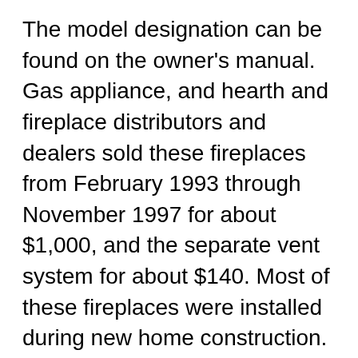The model designation can be found on the owner's manual. Gas appliance, and hearth and fireplace distributors and dealers sold these fireplaces from February 1993 through November 1997 for about $1,000, and the separate vent system for about $140. Most of these fireplaces were installed during new home construction. Products > Replacement Parts > Marco Fireplace Replacement Parts > Marco Gas Fireplace Parts > Marco Gas Fireplace Parts. How to Order 1. Select the correct catalog below 2. Find the item needed in the catalog and enter the part number in the search box on our web site. 3. Click Go 4. Add the part(s) to the